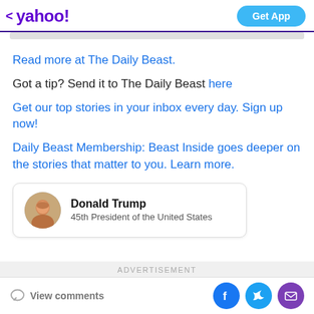< yahoo! | Get App
Read more at The Daily Beast.
Got a tip? Send it to The Daily Beast here
Get our top stories in your inbox every day. Sign up now!
Daily Beast Membership: Beast Inside goes deeper on the stories that matter to you. Learn more.
[Figure (other): Donald Trump profile card with circular avatar photo. Label: Donald Trump, subtitle: 45th President of the United States]
ADVERTISEMENT
View comments | Facebook share | Twitter share | Email share